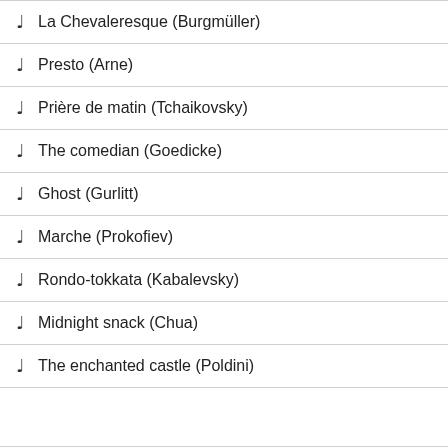La Chevaleresque (Burgmüller)
Presto (Arne)
Prière de matin (Tchaikovsky)
The comedian (Goedicke)
Ghost (Gurlitt)
Marche (Prokofiev)
Rondo-tokkata (Kabalevsky)
Midnight snack (Chua)
The enchanted castle (Poldini)